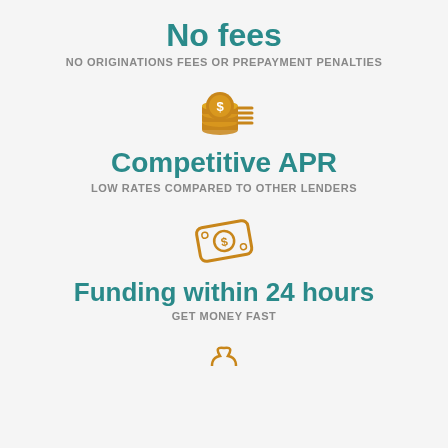No fees
NO ORIGINATIONS FEES OR PREPAYMENT PENALTIES
[Figure (illustration): Gold coin stack icon with dollar sign]
Competitive APR
LOW RATES COMPARED TO OTHER LENDERS
[Figure (illustration): Gold banknote/bill icon with dollar sign]
Funding within 24 hours
GET MONEY FAST
[Figure (illustration): Partial icon at bottom of page]